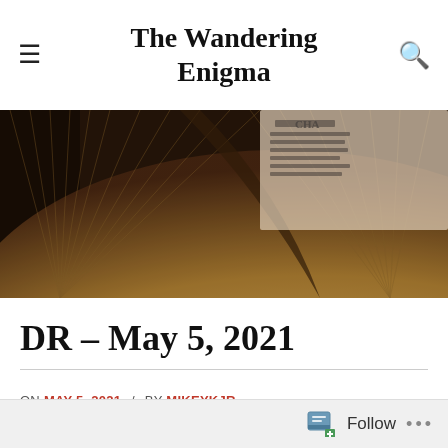The Wandering Enigma
[Figure (photo): Open book photographed from above, showing fanned pages with warm yellow-brown tones, dark background.]
DR – May 5, 2021
ON MAY 5, 2021 / BY MIKEYKJR
Follow